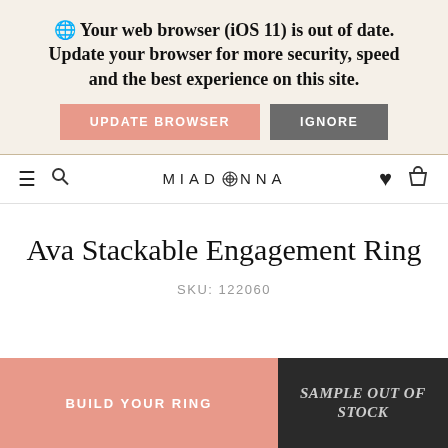🌐 Your web browser (iOS 11) is out of date. Update your browser for more security, speed and the best experience on this site.
UPDATE BROWSER
IGNORE
MIADONNA
Ava Stackable Engagement Ring
SKU: 122060
BUILD YOUR RING
SAMPLE OUT OF STOCK